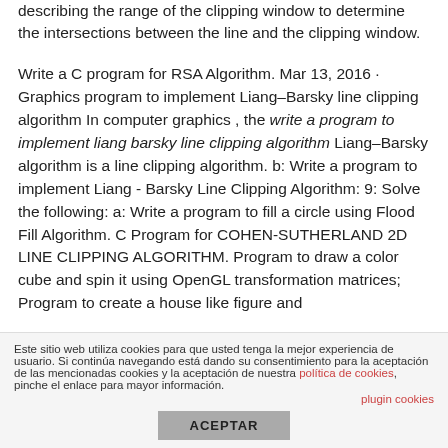describing the range of the clipping window to determine the intersections between the line and the clipping window.
Write a C program for RSA Algorithm. Mar 13, 2016 · Graphics program to implement Liang–Barsky line clipping algorithm In computer graphics , the write a program to implement liang barsky line clipping algorithm Liang–Barsky algorithm is a line clipping algorithm. b: Write a program to implement Liang - Barsky Line Clipping Algorithm: 9: Solve the following: a: Write a program to fill a circle using Flood Fill Algorithm. C Program for COHEN-SUTHERLAND 2D LINE CLIPPING ALGORITHM. Program to draw a color cube and spin it using OpenGL transformation matrices; Program to create a house like figure and
Este sitio web utiliza cookies para que usted tenga la mejor experiencia de usuario. Si continúa navegando está dando su consentimiento para la aceptación de las mencionadas cookies y la aceptación de nuestra política de cookies, pinche el enlace para mayor información.